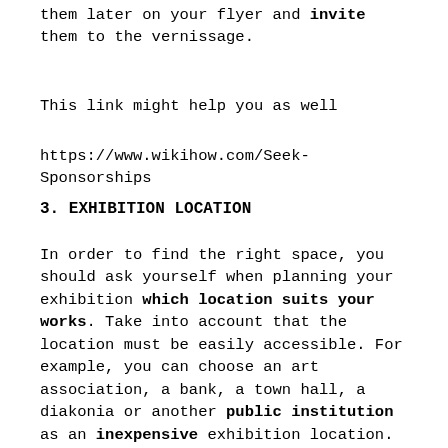them later on your flyer and invite them to the vernissage.
This link might help you as well
https://www.wikihow.com/Seek-Sponsorships
3. EXHIBITION LOCATION
In order to find the right space, you should ask yourself when planning your exhibition which location suits your works. Take into account that the location must be easily accessible. For example, you can choose an art association, a bank, a town hall, a diakonia or another public institution as an inexpensive exhibition location. You can also inquire in cafes or shops, for example. They are often happy about this opportunity because it adds decorative value to their business. It is important not to lose sight of the target group.